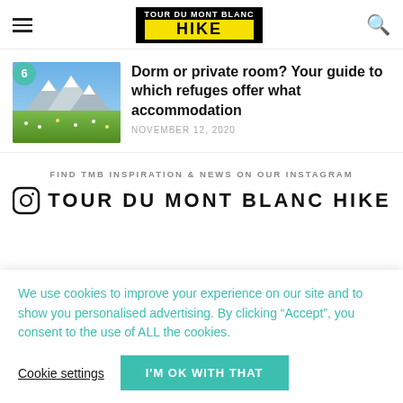TOUR DU MONT BLANC HIKE
[Figure (photo): Mountain landscape with green meadows and snow-capped peaks under blue sky]
Dorm or private room? Your guide to which refuges offer what accommodation
NOVEMBER 12, 2020
FIND TMB INSPIRATION & NEWS ON OUR INSTAGRAM
TOUR DU MONT BLANC HIKE
We use cookies to improve your experience on our site and to show you personalised advertising. By clicking “Accept”, you consent to the use of ALL the cookies.
Cookie settings
I'M OK WITH THAT